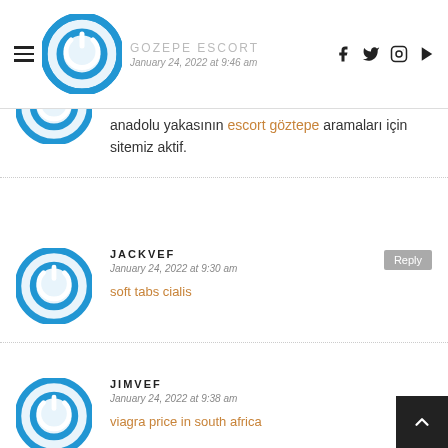GOZEPE ESCORT
anadolu yakasının escort göztepe aramaları için sitemiz aktif.
JACKVEF
January 24, 2022 at 9:30 am
soft tabs cialis
JIMVEF
January 24, 2022 at 9:38 am
viagra price in south africa